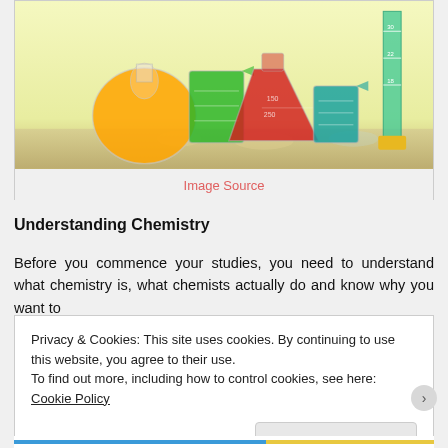[Figure (photo): Laboratory glassware including beakers and flasks filled with colorful liquids (orange, green, red, teal) on a reflective surface with a yellow-green background. A ruler is visible on the right.]
Image Source
Understanding Chemistry
Before you commence your studies, you need to understand what chemistry is, what chemists actually do and know why you want to
Privacy & Cookies: This site uses cookies. By continuing to use this website, you agree to their use.
To find out more, including how to control cookies, see here: Cookie Policy
Close and accept